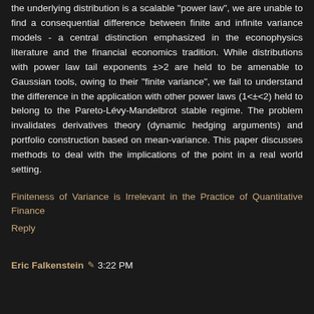the underlying distribution is a scalable "power law", we are unable to find a consequential difference between finite and infinite variance models - a central distinction emphasized in the econophysics literature and the financial economics tradition. While distributions with power law tail exponents ±>2 are held to be amenable to Gaussian tools, owing to their "finite variance", we fail to understand the difference in the application with other power laws (1<±<2) held to belong to the Pareto-Lévy-Mandelbrot stable regime. The problem invalidates derivatives theory (dynamic hedging arguments) and portfolio construction based on mean-variance. This paper discusses methods to deal with the implications of the point in a real world setting.
Finiteness of Variance is Irrelevant in the Practice of Quantitative Finance
Reply
Eric Falkenstein ✏ 3:22 PM